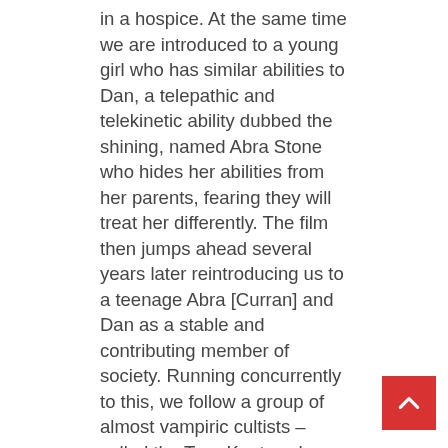in a hospice. At the same time we are introduced to a young girl who has similar abilities to Dan, a telepathic and telekinetic ability dubbed the shining, named Abra Stone who hides her abilities from her parents, fearing they will treat her differently. The film then jumps ahead several years later reintroducing us to a teenage Abra [Curran] and Dan as a stable and contributing member of society. Running concurrently to this, we follow a group of almost vampiric cultists – called the True Knot – who feed off of this shining quality (which they call steam), led by the eerie Rose the Hat [Ferguson]. After they claim the life of a young victim, they become aware of Abra and sensing her powers are potentially greater than any they have experienced before, set out to consume her. In order to prevent this, Dan must confront all of his literal and figurative inner demons.